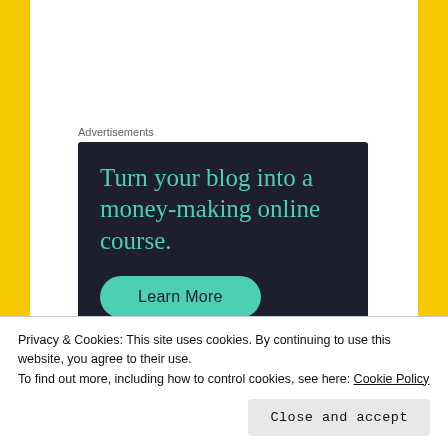Advertisements
[Figure (illustration): Dark navy advertisement banner for an online course. Text reads: 'Turn your blog into a money-making online course.' with a teal 'Learn More' button.]
Hannah | Make, Do & Push! says:
Privacy & Cookies: This site uses cookies. By continuing to use this website, you agree to their use.
To find out more, including how to control cookies, see here: Cookie Policy
Close and accept